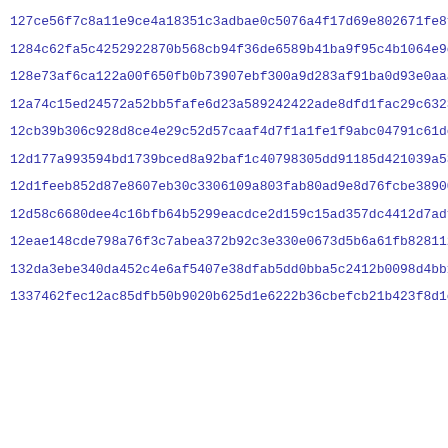127ce56f7c8a11e9ce4a18351c3adbae0c5076a4f17d69e802671fe8f5b6f
1284c62fa5c4252922870b568cb94f36de6589b41ba9f95c4b1064e9cd3b9
128e73af6ca122a00f650fb0b73907ebf300a9d283af91ba0d93e0aaa6d95
12a74c15ed24572a52bb5fafe6d23a589242422ade8dfd1fac29c6323b24a
12cb39b306c928d8ce4e29c52d57caaf4d7f1a1fe1f9abc04791c61de288d
12d177a993594bd1739bced8a92baf1c40798305dd91185d421039a53c925
12d1feeb852d87e8607eb30c3306109a803fab80ad9e8d76fcbe389002c03
12d58c6680dee4c16bfb64b5299eacdce2d159c15ad357dc4412d7adff62e
12eae148cde798a76f3c7abea372b92c3e330e0673d5b6a61fb828112852a
132da3ebe340da452c4e6af5407e38dfab5dd0bba5c2412b0098d4bb17f36
1337462fec12ac85dfb50b9020b625d1e6222b36cbefcb21b423f8d1cd391